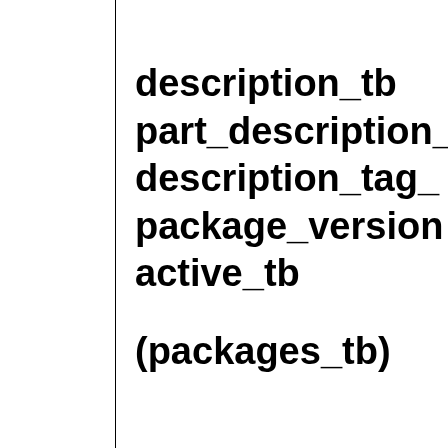description_tb
part_description_
description_tag_
package_version
active_tb
(packages_tb)